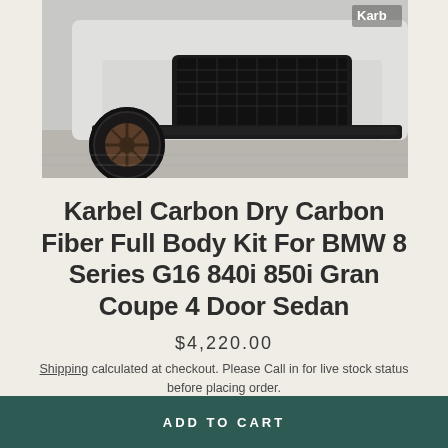[Figure (photo): Close-up photo of a white BMW 8 Series Gran Coupe front end with carbon fiber splitter, showing large black grille, bronze/copper alloy wheels, and carbon fiber front lip spoiler in a garage setting]
Karbel Carbon Dry Carbon Fiber Full Body Kit For BMW 8 Series G16 840i 850i Gran Coupe 4 Door Sedan
$4,220.00
Shipping calculated at checkout. Please Call in for live stock status before placing order.
ADD TO CART